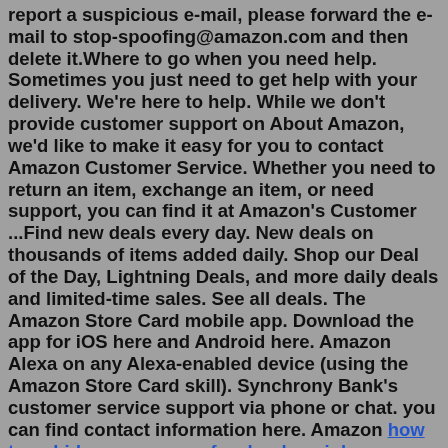report a suspicious e-mail, please forward the e-mail to stop-spoofing@amazon.com and then delete it.Where to go when you need help. Sometimes you just need to get help with your delivery. We're here to help. While we don't provide customer support on About Amazon, we'd like to make it easy for you to contact Amazon Customer Service. Whether you need to return an item, exchange an item, or need support, you can find it at Amazon's Customer ...Find new deals every day. New deals on thousands of items added daily. Shop our Deal of the Day, Lightning Deals, and more daily deals and limited-time sales. See all deals. The Amazon Store Card mobile app. Download the app for iOS here and Android here. Amazon Alexa on any Alexa-enabled device (using the Amazon Store Card skill). Synchrony Bank's customer service support via phone or chat. you can find contact information here. Amazon how to unhide someone on facebook on iphonecar accident austin tx yesterdaydallas county criminal court of appealsold belt buckle identification x1